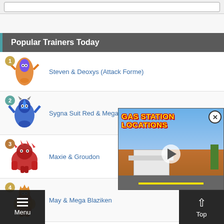Popular Trainers Today
1. Steven & Deoxys (Attack Forme)
2. Sygna Suit Red & Mega Charizard X
3. Maxie & Groudon
4. May & Mega Blaziken
[Figure (screenshot): Video advertisement thumbnail showing 'GAS STATION LOCATIONS' text with a gas station scene background and play button]
Menu | Top